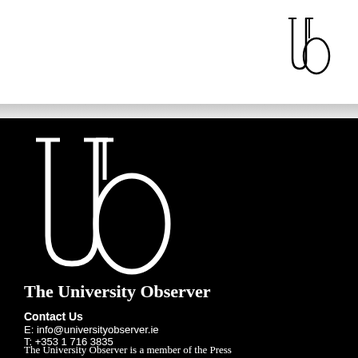[Figure (logo): University Observer UO monogram logo, small, top-right corner]
[Figure (logo): University Observer UO monogram logo, large, on black background]
The University Observer
Contact Us
E: info@universityobserver.ie
T: +353 1 716 3835
The University Observer is a member of the Press